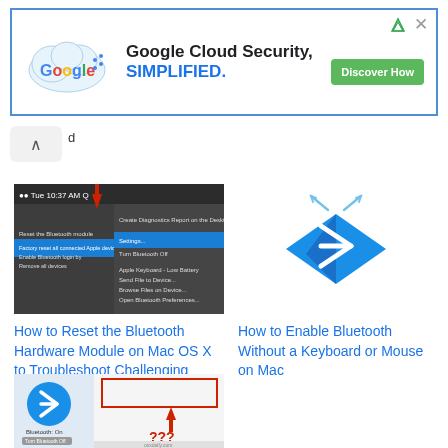[Figure (screenshot): Google Cloud Security ad banner with Google logo in cloud shape, text 'Google Cloud Security. SIMPLIFIED.' and green 'Discover How' button]
[Figure (screenshot): Thumbnail of Mac Bluetooth menu showing reset Bluetooth module option with red downward arrow]
[Figure (illustration): Bluetooth icon logo in blue diamond shape with white Bluetooth symbol]
How to Reset the Bluetooth Hardware Module on Mac OS X to Troubleshoot Challenging Bluetooth Issues
How to Enable Bluetooth Without a Keyboard or Mouse on Mac
[Figure (screenshot): Mac Bluetooth settings screenshot with red arrow and question marks indicating missing device name]